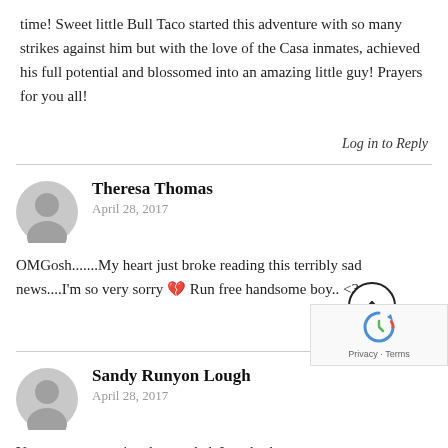time! Sweet little Bull Taco started this adventure with so many strikes against him but with the love of the Casa inmates, achieved his full potential and blossomed into an amazing little guy! Prayers for you all!
Log in to Reply
Theresa Thomas
April 28, 2017
OMGosh.......My heart just broke reading this terribly sad news....I'm so very sorry 💔 Run free handsome boy.. <3
Log in to Reply
Sandy Runyon Lough
April 28, 2017
You are an exceptional man, dad. I am both